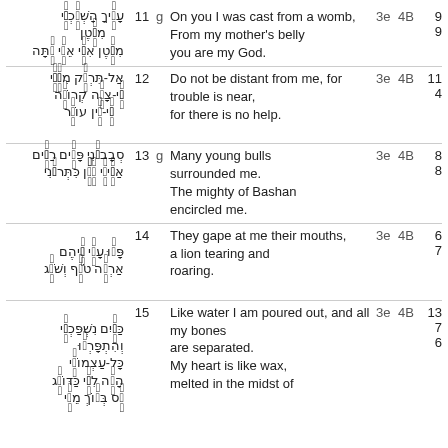| Hebrew | Verse | g | English | 3e | 4B | nn |
| --- | --- | --- | --- | --- | --- | --- |
| עָלֶיךָ הָשְׁלַכְתִּי מִבֶּטֶן מִבֶּטֶן אִמִּי אֵלִי אָתָּה | 11 | g | On you I was cast from a womb,
From my mother's belly you are my God. | 3e | 4B | 9
9 |
| אַל-תִּרְחַק מִמֶּנִּי כִּי-צָרָה קְרוֹבָה כִּי-אֵין עוֹזֵר | 12 |  | Do not be distant from me, for trouble is near, for there is no help. | 3e | 4B | 11
4 |
| סְבָבוּנִי פָּרִים רַבִּים אַבִּירֵי בָשָׁן כִּתְּרוּנִי | 13 | g | Many young bulls surrounded me.
The mighty of Bashan encircled me. | 3e | 4B | 8
8 |
| פָּצוּ עָלַי פִּיהֶם אַרְיֵה טֹרֵף וְשֹׁאֵג | 14 |  | They gape at me their mouths,
a lion tearing and roaring. | 3e | 4B | 6
7 |
| כַּמַּיִם נִשְׁפַּכְתִּי וְהִתְפָּרְדוּ כָּל-עַצְמוֹתַי הָיָה לִבִּי כַּדּוֹנָג סֵס בְּתוֹךְ מֵעָי | 15 |  | Like water I am poured out, and all my bones are separated.
My heart is like wax, melted in the midst of | 3e | 4B | 13
7
6 |